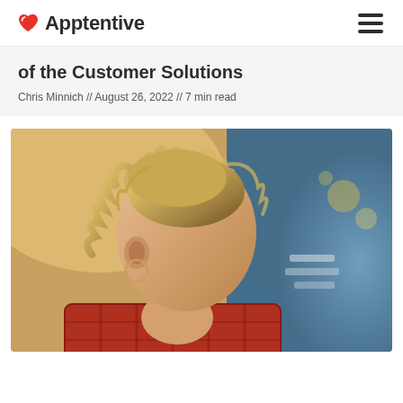Apptentive
of the Customer Solutions
Chris Minnich // August 26, 2022 // 7 min read
[Figure (photo): A woman viewed from behind, with blonde hair pulled up, wearing a red plaid top, with a blurred background of blue and golden tones.]